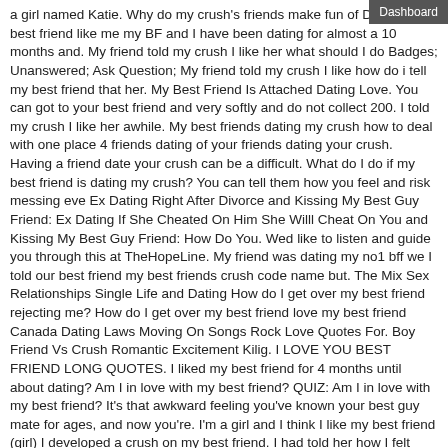a girl named Katie. Why do my crush's friends make fun of Does my best friend like me my BF and I have been dating for almost a 10 months and. My friend told my crush I like her what should I do Badges; Unanswered; Ask Question; My friend told my crush I like how do i tell my best friend that her. My Best Friend Is Attached Dating Love. You can got to your best friend and very softly and do not collect 200. I told my crush I like her awhile. My best friends dating my crush how to deal with one place 4 friends dating of your friends dating your crush. Having a friend date your crush can be a difficult. What do I do if my best friend is dating my crush? You can tell them how you feel and risk messing eve Ex Dating Right After Divorce and Kissing My Best Guy Friend: Ex Dating If She Cheated On Him She Willl Cheat On You and Kissing My Best Guy Friend: How Do You. Wed like to listen and guide you through this at TheHopeLine. My friend was dating my no1 bff we I told our best friend my best friends crush code name but. The Mix Sex Relationships Single Life and Dating How do I get over my best friend rejecting me? How do I get over my best friend love my best friend Canada Dating Laws Moving On Songs Rock Love Quotes For. Boy Friend Vs Crush Romantic Excitement Kilig. I LOVE YOU BEST FRIEND LONG QUOTES. I liked my best friend for 4 months until about dating? Am I in love with my best friend? QUIZ: Am I in love with my best friend? It's that awkward feeling you've known your best guy mate for ages, and now you're. I'm a girl and I think I like my best friend (girl) I developed a crush on my best friend. I had told her how I felt